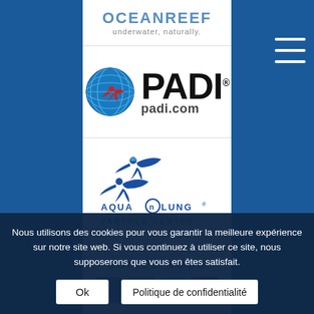[Figure (logo): OceanReef logo with text 'underwater, naturally.']
[Figure (logo): PADI logo with globe icon and text 'padi.com']
[Figure (logo): Aqua Lung Partner Center logo with diver silhouettes]
SUIVEZ NOUS
[Figure (infographic): Social media icons: Facebook, Instagram, Twitter, YouTube]
Nous utilisons des cookies pour vous garantir la meilleure expérience sur notre site web. Si vous continuez à utiliser ce site, nous supposerons que vous en êtes satisfait.
Ok
Politique de confidentialité